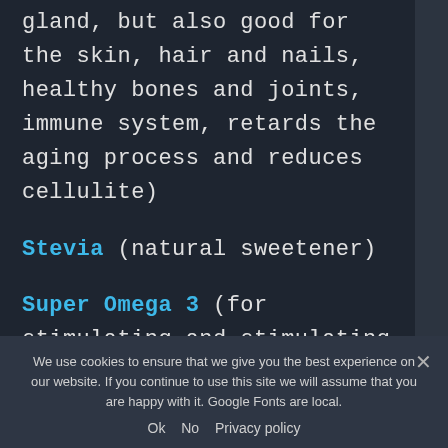gland, but also good for the skin, hair and nails, healthy bones and joints, immune system, retards the aging process and reduces cellulite)
Stevia (natural sweetener)
Super Omega 3 (for stimulating and stimulating lucid dreaming)
Reverse Osmosis System (clean and fluoride-free water)
We use cookies to ensure that we give you the best experience on our website. If you continue to use this site we will assume that you are happy with it. Google Fonts are local.
Ok  No  Privacy policy